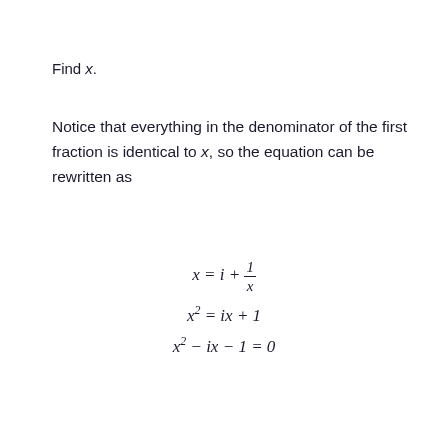Find x.
Notice that everything in the denominator of the first fraction is identical to x, so the equation can be rewritten as